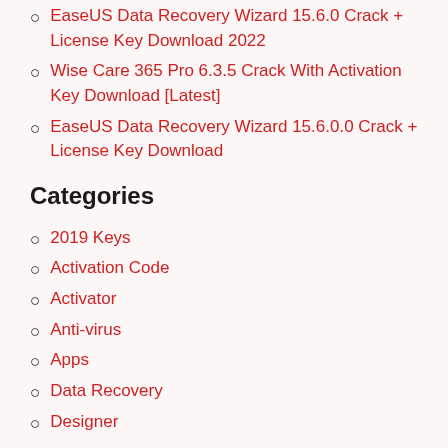EaseUS Data Recovery Wizard 15.6.0 Crack + License Key Download 2022
Wise Care 365 Pro 6.3.5 Crack With Activation Key Download [Latest]
EaseUS Data Recovery Wizard 15.6.0.0 Crack + License Key Download
Categories
2019 Keys
Activation Code
Activator
Anti-virus
Apps
Data Recovery
Designer